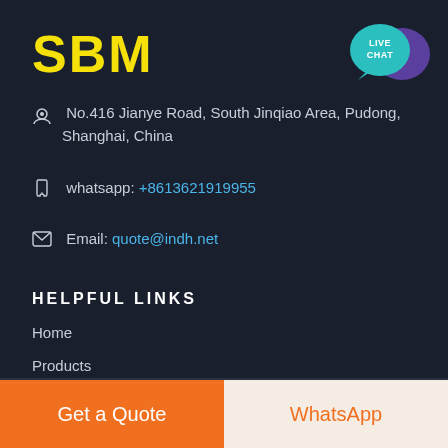SBM
No.416 Jianye Road, South Jinqiao Area, Pudong, Shanghai, China
whatsapp: +8613621919955
Email: quote@indh.net
[Figure (illustration): Live Chat bubble icon with teal speech bubble in front and purple speech bubble behind, text LIVE CHAT]
HELPFUL LINKS
Home
Products
Solutions
Get a Quote
WhatsApp